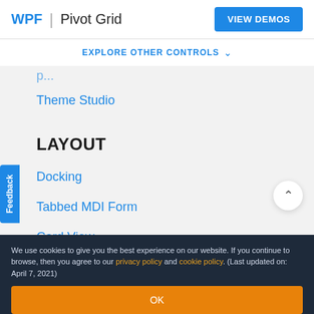WPF | Pivot Grid  VIEW DEMOS
EXPLORE OTHER CONTROLS ˅
Theme Studio
LAYOUT
Docking
Tabbed MDI Form
Card View
Carousel
We use cookies to give you the best experience on our website. If you continue to browse, then you agree to our privacy policy and cookie policy. (Last updated on: April 7, 2021)
OK